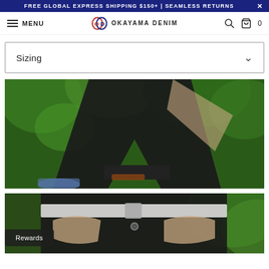FREE GLOBAL EXPRESS SHIPPING $150+ | SEAMLESS RETURNS
MENU  OKAYAMA DENIM
Sizing
[Figure (photo): Person wearing dark/black denim jeans outdoors, rolling up cuff, with green trees in background and blue sneakers visible]
[Figure (photo): Close-up of person's hands at waistband of dark denim jeans with belt, outdoors with green foliage background]
Rewards